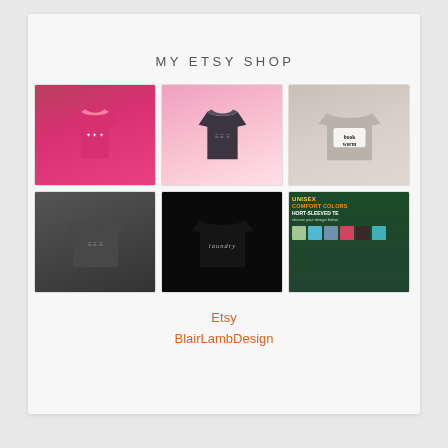MY ETSY SHOP
[Figure (photo): 6 product photos in a 2-row, 3-column grid: pink t-shirt, dark charcoal t-shirt on pink background, grey bookworm sweatshirt, dark grey sweatshirt, black laundry sweatshirt, unisex comfort colors short-sleeved tee advertisement]
Etsy
BlairLambDesign